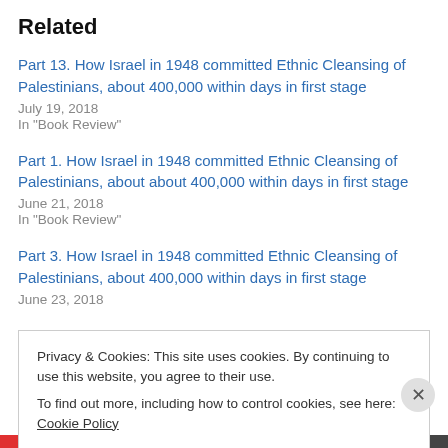Related
Part 13. How Israel in 1948 committed Ethnic Cleansing of Palestinians, about 400,000 within days in first stage
July 19, 2018
In "Book Review"
Part 1. How Israel in 1948 committed Ethnic Cleansing of Palestinians, about about 400,000 within days in first stage
June 21, 2018
In "Book Review"
Part 3. How Israel in 1948 committed Ethnic Cleansing of Palestinians, about 400,000 within days in first stage
June 23, 2018
Privacy & Cookies: This site uses cookies. By continuing to use this website, you agree to their use.
To find out more, including how to control cookies, see here: Cookie Policy
Close and accept